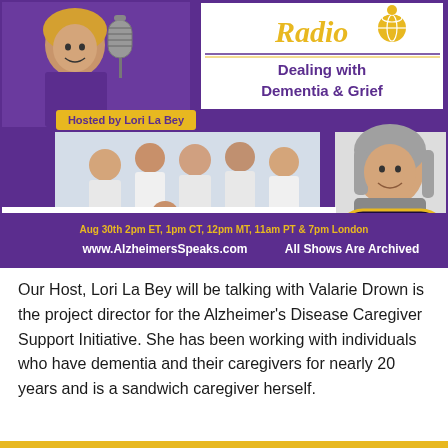[Figure (infographic): Alzheimer's Speaks Radio promotional banner for episode on Dealing with Dementia & Grief, hosted by Lori La Bey, featuring guest Valarie Drown from Caregiver Support / Alzheimer's Disease Caregiver Support Initiative. Aug 30th 2pm ET, 1pm CT, 12pm MT, 11am PT & 7pm London. www.AlzheimersSpeaks.com All Shows Are Archived.]
Our Host, Lori La Bey will be talking with Valarie Drown is the project director for the Alzheimer's Disease Caregiver Support Initiative. She has been working with individuals who have dementia and their caregivers for nearly 20 years and is a sandwich caregiver herself.